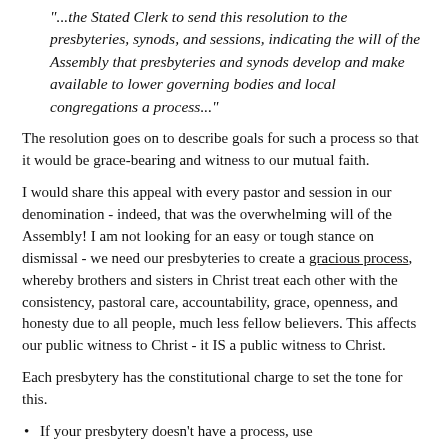"...the Stated Clerk to send this resolution to the presbyteries, synods, and sessions, indicating the will of the Assembly that presbyteries and synods develop and make available to lower governing bodies and local congregations a process..."
The resolution goes on to describe goals for such a process so that it would be grace-bearing and witness to our mutual faith.
I would share this appeal with every pastor and session in our denomination - indeed, that was the overwhelming will of the Assembly! I am not looking for an easy or tough stance on dismissal - we need our presbyteries to create a gracious process, whereby brothers and sisters in Christ treat each other with the consistency, pastoral care, accountability, grace, openness, and honesty due to all people, much less fellow believers. This affects our public witness to Christ - it IS a public witness to Christ.
Each presbytery has the constitutional charge to set the tone for this.
If your presbytery doesn't have a process, use